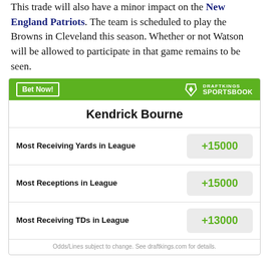This trade will also have a minor impact on the New England Patriots. The team is scheduled to play the Browns in Cleveland this season. Whether or not Watson will be allowed to participate in that game remains to be seen.
[Figure (other): DraftKings Sportsbook widget for Kendrick Bourne showing betting odds: Most Receiving Yards in League +15000, Most Receptions in League +15000, Most Receiving TDs in League +13000. Includes 'Bet Now!' button and DraftKings Sportsbook logo.]
Odds/Lines subject to change. See draftkings.com for details.